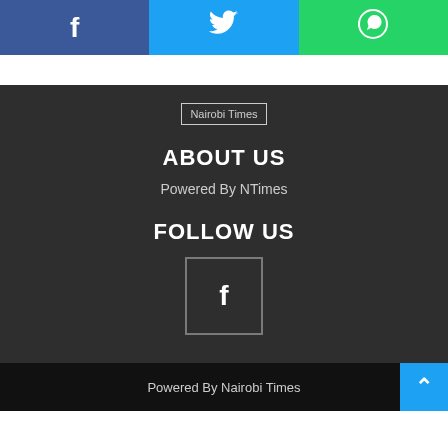[Figure (other): Social share bar with Facebook (blue), Twitter (light blue), and WhatsApp (green) buttons with icons]
[Figure (logo): Nairobi Times logo placeholder image]
ABOUT US
Powered By NTimes
FOLLOW US
[Figure (other): Facebook icon in a square box]
Powered By Nairobi Times